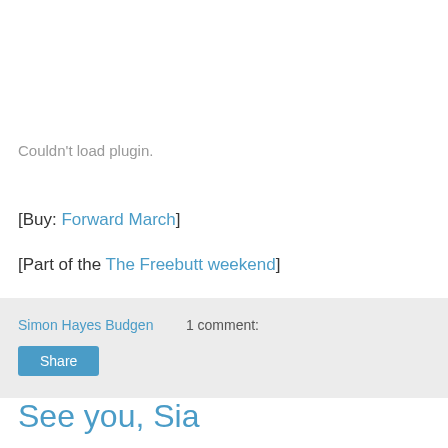[Figure (other): Plugin placeholder area showing 'Couldn't load plugin.' message in gray text]
[Buy: Forward March]
[Part of the The Freebutt weekend]
Simon Hayes Budgen    1 comment:
Share
See you, Sia